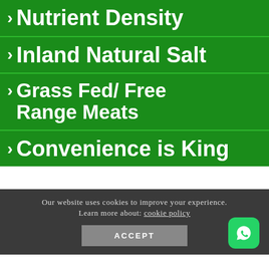▶ Nutrient Density
▶ Inland Natural Salt
▶ Grass Fed/ Free Range Meats
▶ Convenience is King
Our website uses cookies to improve your experience. Learn more about: cookie policy
ACCEPT